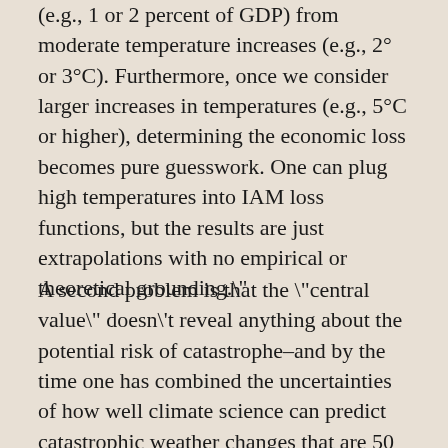(e.g., 1 or 2 percent of GDP) from moderate temperature increases (e.g., 2° or 3°C). Furthermore, once we consider larger increases in temperatures (e.g., 5°C or higher), determining the economic loss becomes pure guesswork. One can plug high temperatures into IAM loss functions, but the results are just extrapolations with no empirical or theoretical grounding."
A second problem is that the "central value" doesn't reveal anything about the potential risk of catastrophe–and by the time one has combined the uncertainties of how well climate science can predict catastrophic weather changes that are 50 or 100 years away, combined with uncertainties over the economic costs of those weather changes,